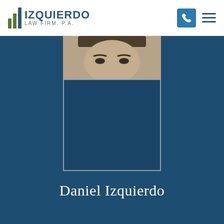[Figure (logo): Izquierdo Law Firm, P.A. logo with vertical bar chart icon in green and blue, firm name in dark blue, tagline in teal]
[Figure (photo): Partial headshot of Daniel Izquierdo, a man with dark hair, showing only the top portion of his face (forehead, eyes) above a dark blue rectangular overlay, set against a dark blue background]
Daniel Izquierdo